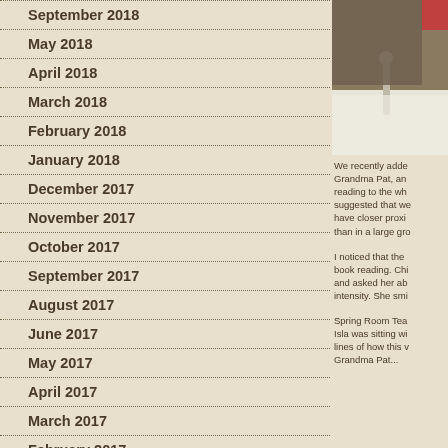September 2018
May 2018
April 2018
March 2018
February 2018
January 2018
December 2017
November 2017
October 2017
September 2017
August 2017
June 2017
May 2017
April 2017
March 2017
February 2017
January 2017
[Figure (photo): A photo showing what appears to be a candle on a white furry surface with a dark background, partially cropped.]
We recently adde Grandma Pat, an reading to the wh suggested that we have closer proxi than in a large gro
I noticed that the book reading. Chi and asked her ab intensity. She smi
Spring Room Tea Isla was sitting wi lines of how this v Grandma Pat...